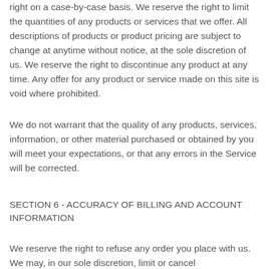right on a case-by-case basis. We reserve the right to limit the quantities of any products or services that we offer. All descriptions of products or product pricing are subject to change at anytime without notice, at the sole discretion of us. We reserve the right to discontinue any product at any time. Any offer for any product or service made on this site is void where prohibited.
We do not warrant that the quality of any products, services, information, or other material purchased or obtained by you will meet your expectations, or that any errors in the Service will be corrected.
SECTION 6 - ACCURACY OF BILLING AND ACCOUNT INFORMATION
We reserve the right to refuse any order you place with us. We may, in our sole discretion, limit or cancel